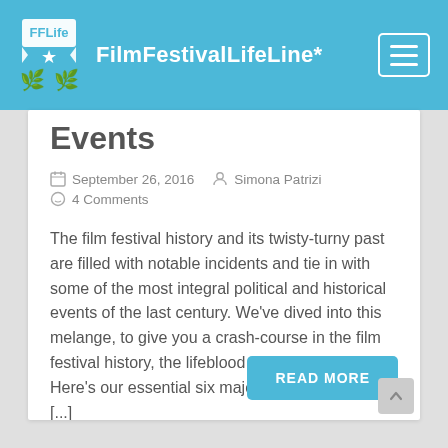FilmFestivalLifeLine*
Events
September 26, 2016   Simona Patrizi   4 Comments
The film festival history and its twisty-turny past are filled with notable incidents and tie in with some of the most integral political and historical events of the last century. We’ve dived into this melange, to give you a crash-course in the film festival history, the lifeblood of FilmFestivalLife. Here’s our essential six major events you should [...]
READ MORE